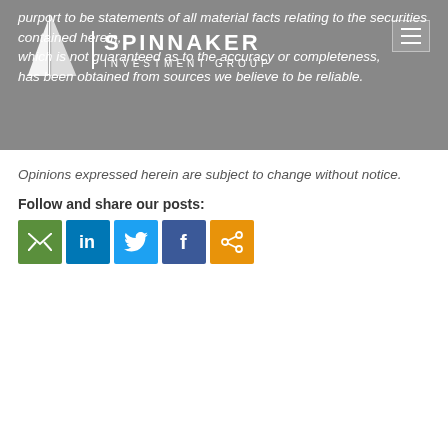[Figure (logo): Spinnaker Investment Group logo with sailboat icon on grey header banner]
purport to be statements of all material facts relating to the securities contained herein, which is not guaranteed as to the accuracy or completeness, has been obtained from sources we believe to be reliable.
Opinions expressed herein are subject to change without notice.
Follow and share our posts:
[Figure (infographic): Social media share buttons: Email (green), LinkedIn (blue), Twitter (light blue), Facebook (dark blue), Share (orange)]
PREV PAGE    NEXT PAGE
YOUR COMMENT
Comment